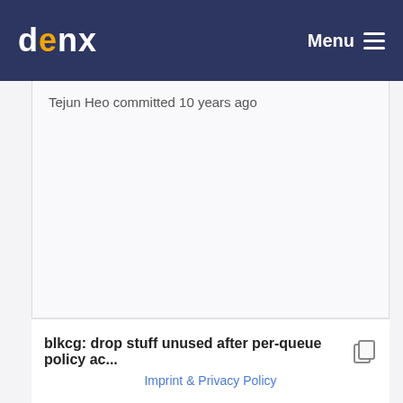denx  Menu
Tejun Heo committed 10 years ago
blkcg: drop stuff unused after per-queue policy ac...
Imprint & Privacy Policy